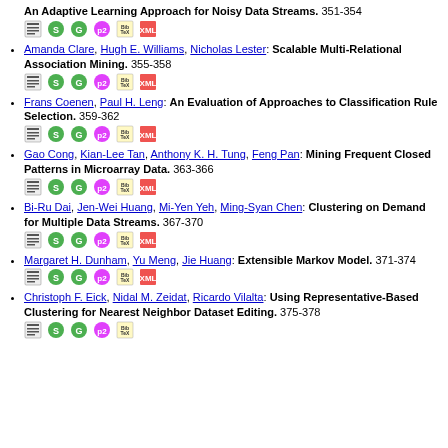An Adaptive Learning Approach for Noisy Data Streams. 351-354
Amanda Clare, Hugh E. Williams, Nicholas Lester: Scalable Multi-Relational Association Mining. 355-358
Frans Coenen, Paul H. Leng: An Evaluation of Approaches to Classification Rule Selection. 359-362
Gao Cong, Kian-Lee Tan, Anthony K. H. Tung, Feng Pan: Mining Frequent Closed Patterns in Microarray Data. 363-366
Bi-Ru Dai, Jen-Wei Huang, Mi-Yen Yeh, Ming-Syan Chen: Clustering on Demand for Multiple Data Streams. 367-370
Margaret H. Dunham, Yu Meng, Jie Huang: Extensible Markov Model. 371-374
Christoph F. Eick, Nidal M. Zeidat, Ricardo Vilalta: Using Representative-Based Clustering for Nearest Neighbor Dataset Editing. 375-378